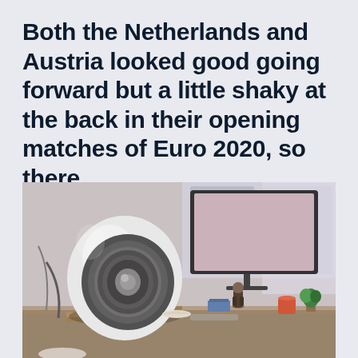Both the Netherlands and Austria looked good going forward but a little shaky at the back in their opening matches of Euro 2020, so there
[Figure (photo): A white egg-shaped speaker on a wooden desk stand in the foreground, with a person sitting at an iMac computer monitor in a blurred background, along with various desk items and a bright window.]